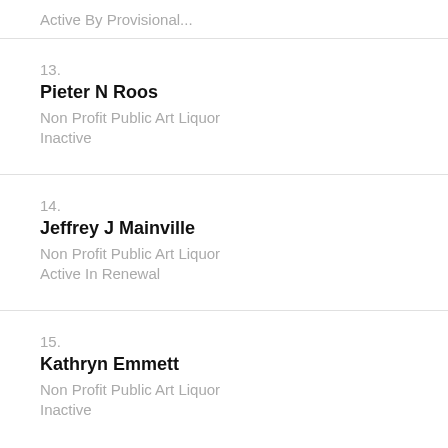Active By Provisional (partial, top of page)
13. Pieter N Roos
Non Profit Public Art Liquor
Inactive
14. Jeffrey J Mainville
Non Profit Public Art Liquor
Active In Renewal
15. Kathryn Emmett
Non Profit Public Art Liquor
Inactive